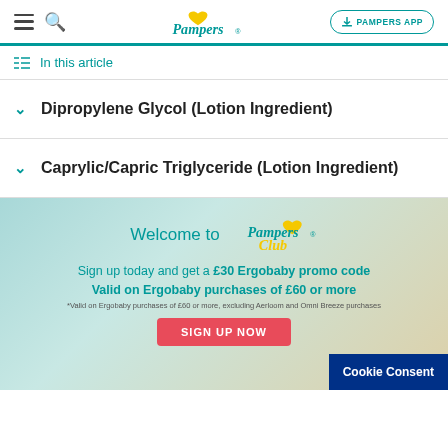Pampers | PAMPERS APP
In this article
Dipropylene Glycol (Lotion Ingredient)
Caprylic/Capric Triglyceride (Lotion Ingredient)
[Figure (infographic): Pampers Club promotional banner with teal/beige gradient background. Text: Welcome to Pampers Club. Sign up today and get a £30 Ergobaby promo code. Valid on Ergobaby purchases of £60 or more. *Valid on Ergobaby purchases of £60 or more, excluding Aerloom and Omni Breeze purchases. SIGN UP NOW button in red. Cookie Consent button in dark blue.]